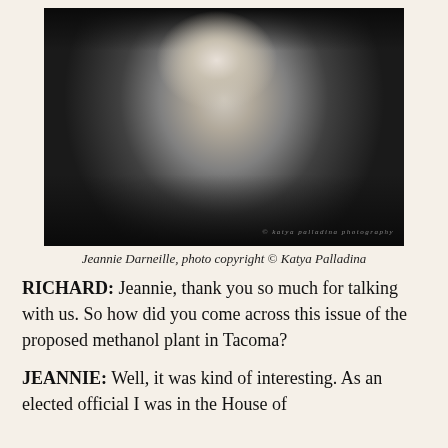[Figure (photo): Black and white portrait photograph of Jeannie Darneille, an older woman with short light hair, wearing a textured cardigan jacket and a necklace, sitting with hands clasped. Dark background. Watermark reads: © katya palladina photography]
Jeannie Darneille, photo copyright © Katya Palladina
RICHARD: Jeannie, thank you so much for talking with us. So how did you come across this issue of the proposed methanol plant in Tacoma?
JEANNIE: Well, it was kind of interesting. As an elected official I was in the House of